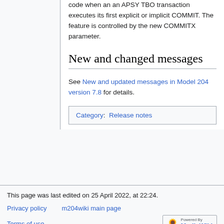code when an an APSY TBO transaction executes its first explicit or implicit COMMIT. The feature is controlled by the new COMMITX parameter.
New and changed messages
See New and updated messages in Model 204 version 7.8 for details.
Category: Release notes
This page was last edited on 25 April 2022, at 22:24.
Privacy policy   m204wiki main page   Terms of use